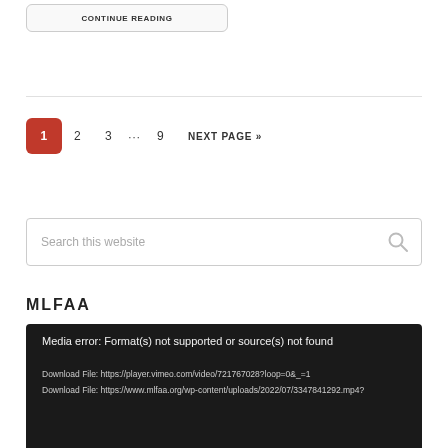CONTINUE READING
1  2  3  …  9  NEXT PAGE »
Search this website
MLFAA
Media error: Format(s) not supported or source(s) not found
Download File: https://player.vimeo.com/video/721767028?loop=0&_=1
Download File: https://www.mlfaa.org/wp-content/uploads/2022/07/3347841292.mp4?